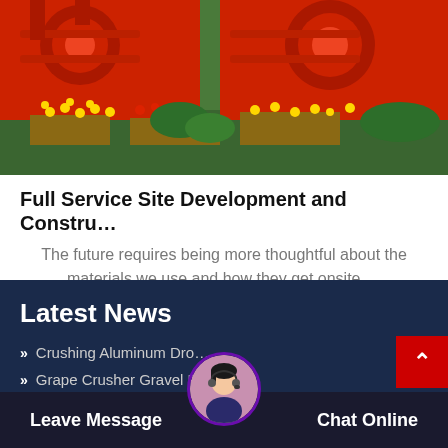[Figure (photo): Red industrial crushing/mining machinery equipment with yellow and red flowers in the foreground]
Full Service Site Development and Constru…
The future requires being more thoughtful about the materials we use and how they get onsite….
Latest News
Crushing Aluminum Dro…
Grape Crusher Gravel Ri…
Leave Message
Chat Online